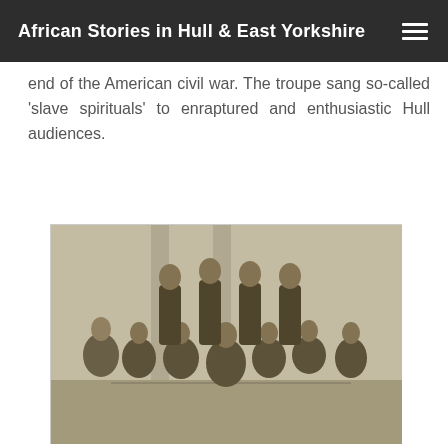African Stories in Hull & East Yorkshire
end of the American civil war. The troupe sang so-called 'slave spirituals' to enraptured and enthusiastic Hull audiences.
[Figure (photo): Black and white historical engraving of a group of approximately 11 people, men and women, posed formally together in Victorian-era clothing.]